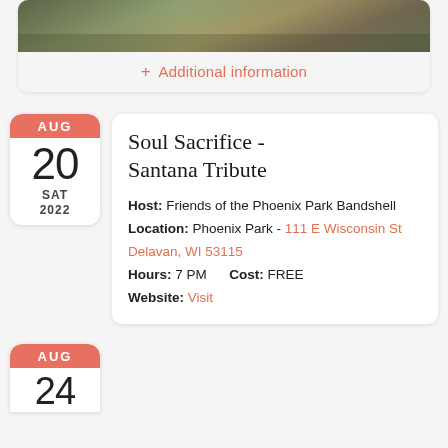[Figure (photo): Outdoor event photo showing people at a park bandshell, cropped at top of page]
+ Additional information
AUG
20
SAT
2022
Soul Sacrifice - Santana Tribute
Host: Friends of the Phoenix Park Bandshell
Location: Phoenix Park - 111 E Wisconsin St Delavan, WI 53115
Hours: 7 PM    Cost: FREE
Website: Visit
AUG
24